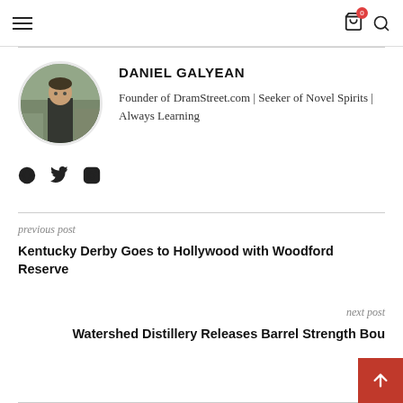Navigation bar with hamburger menu, cart (0), and search icon
[Figure (photo): Circular profile photo of Daniel Galyean, a man in a black t-shirt outdoors]
DANIEL GALYEAN
Founder of DramStreet.com | Seeker of Novel Spirits | Always Learning
[Figure (infographic): Social media icons: globe/website, Twitter bird, Instagram]
previous post
Kentucky Derby Goes to Hollywood with Woodford Reserve
next post
Watershed Distillery Releases Barrel Strength Bou